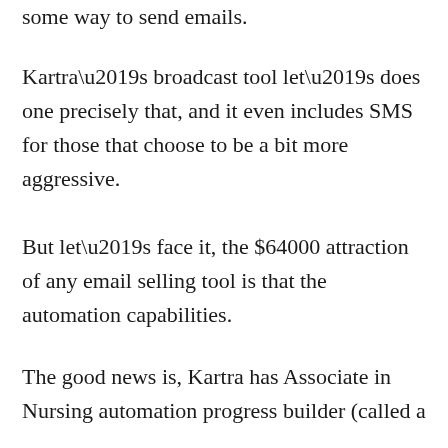some way to send emails.
Kartra’s broadcast tool let’s does one precisely that, and it even includes SMS for those that choose to be a bit more aggressive.
But let’s face it, the $64000 attraction of any email selling tool is that the automation capabilities.
The good news is, Kartra has Associate in Nursing automation progress builder (called a